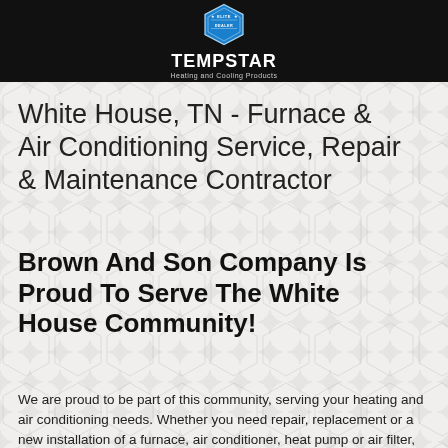[Figure (logo): Tempstar Elite Dealer logo — blue hexagon badge with 'ELITE DEALER' text above, 'TEMPSTAR' in large bold white letters, 'Heating and Cooling Products' subtitle, all on black header bar]
White House, TN - Furnace & Air Conditioning Service, Repair & Maintenance Contractor
Brown And Son Company Is Proud To Serve The White House Community!
We are proud to be part of this community, serving your heating and air conditioning needs. Whether you need repair, replacement or a new installation of a furnace, air conditioner, heat pump or air filter, we are your trusted local heating & cooling Certified